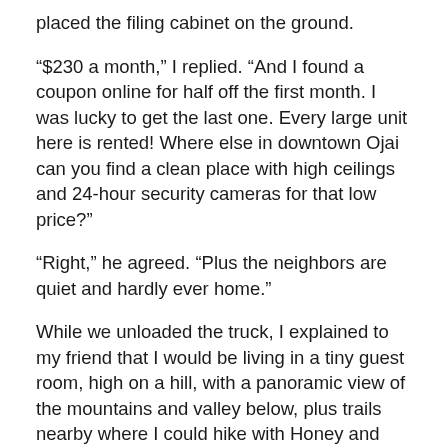placed the filing cabinet on the ground.
“$230 a month,” I replied. “And I found a coupon online for half off the first month. I was lucky to get the last one. Every large unit here is rented! Where else in downtown Ojai can you find a clean place with high ceilings and 24-hour security cameras for that low price?”
“Right,” he agreed. “Plus the neighbors are quiet and hardly ever home.”
While we unloaded the truck, I explained to my friend that I would be living in a tiny guest room, high on a hill, with a panoramic view of the mountains and valley below, plus trails nearby where I could hike with Honey and Chico.
I told David that when I’d found out I had to move from the river bottom, I’d started house hunting. The last house I